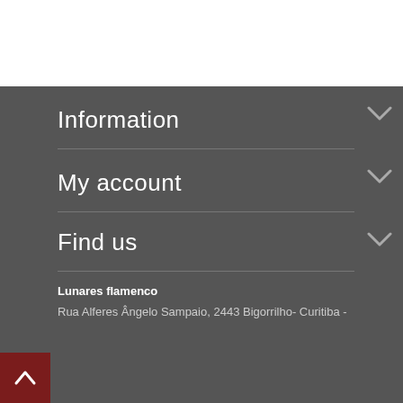Information
My account
Find us
Lunares flamenco
Rua Alferes Ângelo Sampaio, 2443 Bigorrilho- Curitiba -
We use our own cookies as well as third-party cookies to